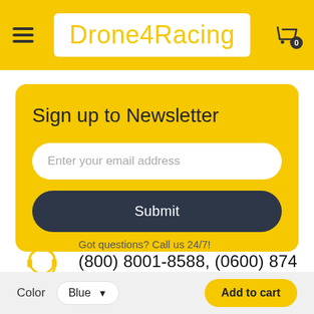Drone4Racing
Sign up to Newsletter
Enter your email address
Submit
Got questions? Call us 24/7!
(800) 8001-8588, (0600) 874 548
Color Blue ▾   Add to cart